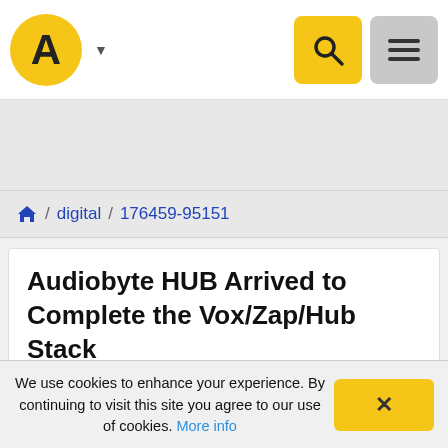A [logo] / Search / Menu navigation bar
digital / 176459-95151
Audiobyte HUB Arrived to Complete the Vox/Zap/Hub Stack
So after a long wait, a lot of angry e-mails and several customer cancellations the Audiobyte Hub has finally
We use cookies to enhance your experience. By continuing to visit this site you agree to our use of cookies. More info